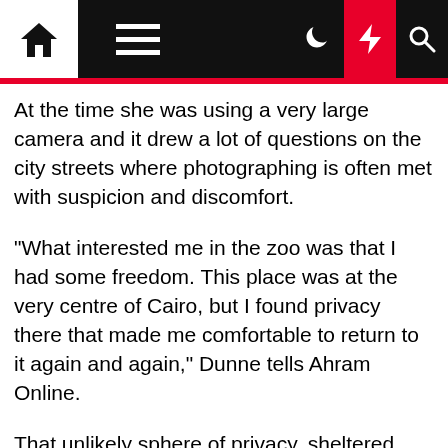Navigation bar with home, menu, moon, lightning, and search icons
At the time she was using a very large camera and it drew a lot of questions on the city streets where photographing is often met with suspicion and discomfort.
“What interested me in the zoo was that I had some freedom. This place was at the very centre of Cairo, but I found privacy there that made me comfortable to return to it again and again,” Dunne tells Ahram Online.
That unlikely sphere of privacy, sheltered from the bustling city outside, the artist explains, gave the place a surreal quality that is subtly reflected in the work.